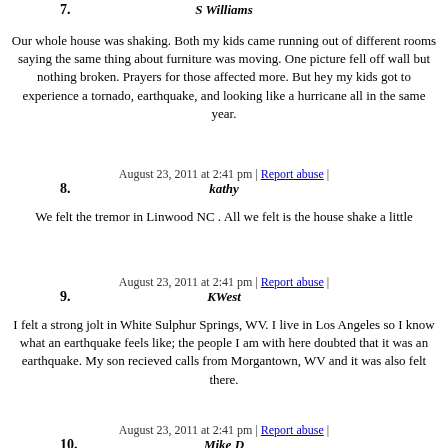7. S Williams
Our whole house was shaking. Both my kids came running out of different rooms saying the same thing about furniture was moving. One picture fell off wall but nothing broken. Prayers for those affected more. But hey my kids got to experience a tornado, earthquake, and looking like a hurricane all in the same year.
August 23, 2011 at 2:41 pm | Report abuse |
8. kathy
We felt the tremor in Linwood NC . All we felt is the house shake a little
August 23, 2011 at 2:41 pm | Report abuse |
9. KWest
I felt a strong jolt in White Sulphur Springs, WV. I live in Los Angeles so I know what an earthquake feels like; the people I am with here doubted that it was an earthquake. My son recieved calls from Morgantown, WV and it was also felt there.
August 23, 2011 at 2:41 pm | Report abuse |
10. Mike D